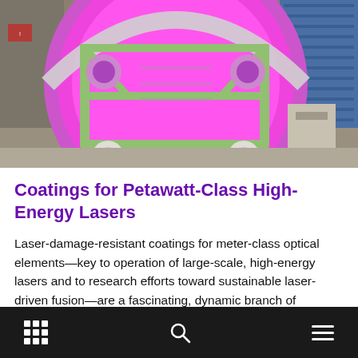[Figure (photo): Laboratory photo showing a large spherical integrating sphere or optical chamber with bright pink/magenta interior, supported by a green metal frame with rollers, in a scientific laboratory setting with blue shelving in the background.]
Coatings for Petawatt-Class High-Energy Lasers
Laser-damage-resistant coatings for meter-class optical elements—key to operation of large-scale, high-energy lasers and to research efforts toward sustainable laser-driven fusion—are a fascinating, dynamic branch of